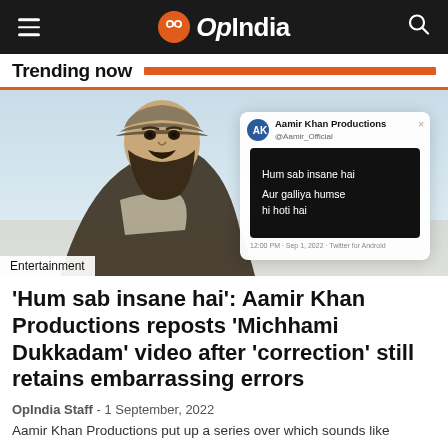OpIndia
Trending now
[Figure (photo): Aamir Khan with beard and cap, overlaid with a tweet screenshot from Aamir Khan Productions reading 'Hum sab insane hai / Aur galliya humse hi hoti hai']
Entertainment
‘Hum sab insane hai’: Aamir Khan Productions reposts ‘Michhami Dukkadam’ video after ‘correction’ still retains embarrassing errors
OpIndia Staff – 1 September, 2022
Aamir Khan Productions put up a series over which sounds like